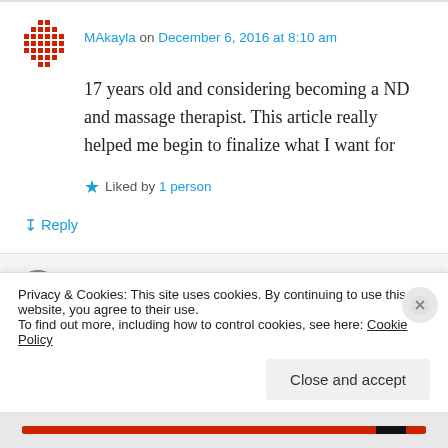MAkayla on December 6, 2016 at 8:10 am
17 years old and considering becoming a ND and massage therapist. This article really helped me begin to finalize what I want for
Liked by 1 person
Reply
James Munro on December 9, 2016 at 7:33
Privacy & Cookies: This site uses cookies. By continuing to use this website, you agree to their use.
To find out more, including how to control cookies, see here: Cookie Policy
Close and accept